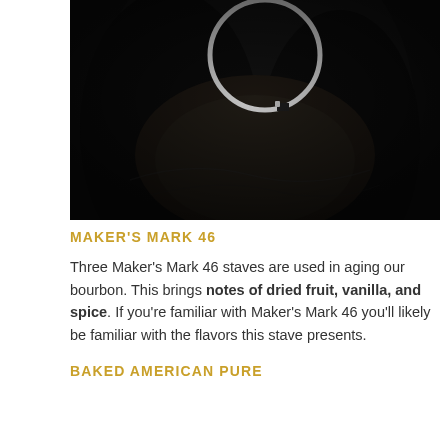[Figure (photo): Close-up dark photograph of bourbon barrel interior with a circular metal ring/hoop visible against a dark charred background]
MAKER'S MARK 46
Three Maker's Mark 46 staves are used in aging our bourbon. This brings notes of dried fruit, vanilla, and spice. If you're familiar with Maker's Mark 46 you'll likely be familiar with the flavors this stave presents.
BAKED AMERICAN PURE